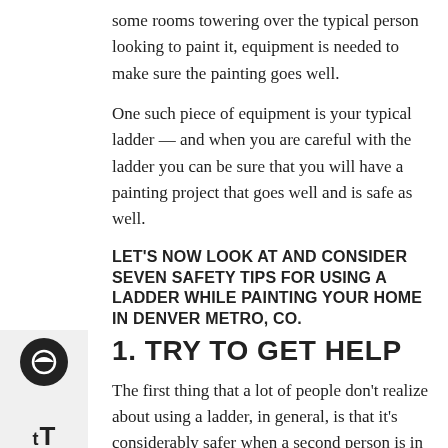some rooms towering over the typical person looking to paint it, equipment is needed to make sure the painting goes well.
One such piece of equipment is your typical ladder — and when you are careful with the ladder you can be sure that you will have a painting project that goes well and is safe as well.
LET'S NOW LOOK AT AND CONSIDER SEVEN SAFETY TIPS FOR USING A LADDER WHILE PAINTING YOUR HOME IN DENVER METRO, CO.
1. TRY TO GET HELP
The first thing that a lot of people don't realize about using a ladder, in general, is that it's considerably safer when a second person is in place to stabilize the ladder.
Indeed, having a second person there to stabilize the ladder will make it considerably more secure — and of course it's not always going to be possible, but you should nonetheless try to have said the second person